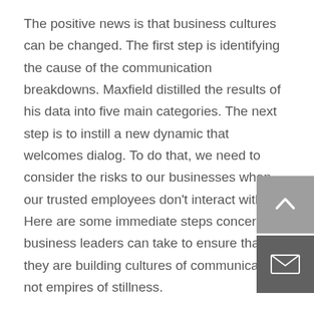The positive news is that business cultures can be changed. The first step is identifying the cause of the communication breakdowns. Maxfield distilled the results of his data into five main categories. The next step is to instill a new dynamic that welcomes dialog. To do that, we need to consider the risks to our businesses when our trusted employees don't interact with us. Here are some immediate steps concerned business leaders can take to ensure that they are building cultures of communication, not empires of stillness.
Changing Your Management Approach
Engage in honest, self-aware and humble discussions about the needs and concerns of your talent. Help your people focus on finding opportunities in existing